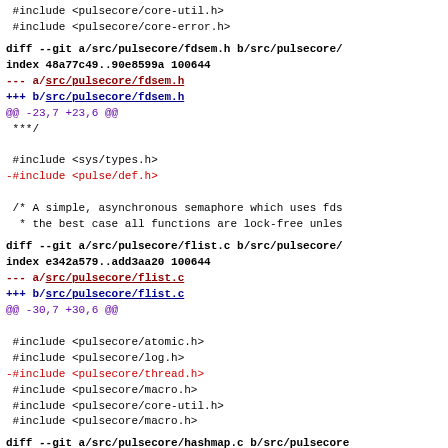#include <pulsecore/core-util.h>
 #include <pulsecore/core-error.h>
diff --git a/src/pulsecore/fdsem.h b/src/pulsecore/
index 48a77c49..90e8599a 100644
--- a/src/pulsecore/fdsem.h
+++ b/src/pulsecore/fdsem.h
@@ -23,7 +23,6 @@
 ***/

 #include <sys/types.h>
-#include <pulse/def.h>

 /* A simple, asynchronous semaphore which uses fds
  * the best case all functions are lock-free unles
diff --git a/src/pulsecore/flist.c b/src/pulsecore/
index e342a579..add3aa20 100644
--- a/src/pulsecore/flist.c
+++ b/src/pulsecore/flist.c
@@ -30,7 +30,6 @@

 #include <pulsecore/atomic.h>
 #include <pulsecore/log.h>
-#include <pulsecore/thread.h>
 #include <pulsecore/macro.h>
 #include <pulsecore/core-util.h>
 #include <pulsecore/macro.h>
diff --git a/src/pulsecore/hashmap.c b/src/pulsecore